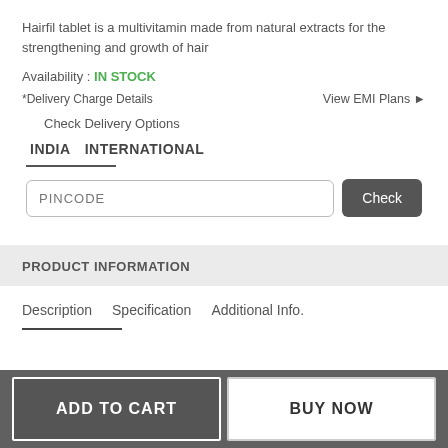Hairfil tablet is a multivitamin made from natural extracts for the strengthening and growth of hair
Availability : IN STOCK
*Delivery Charge Details   View EMI Plans ▶
Check Delivery Options
INDIA   INTERNATIONAL
PINCODE  Check
PRODUCT INFORMATION
Description   Specification   Additional Info.